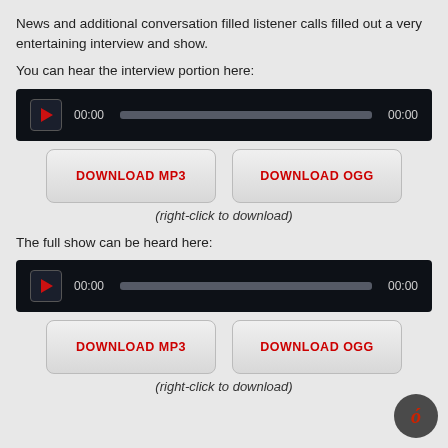News and additional conversation filled listener calls filled out a very entertaining interview and show.
You can hear the interview portion here:
[Figure (other): Audio player widget with play button, progress bar, and time display showing 00:00]
[Figure (other): Download buttons row: DOWNLOAD MP3 and DOWNLOAD OGG]
(right-click to download)
The full show can be heard here:
[Figure (other): Audio player widget with play button, progress bar, and time display showing 00:00]
[Figure (other): Download buttons row: DOWNLOAD MP3 and DOWNLOAD OGG]
(right-click to download)